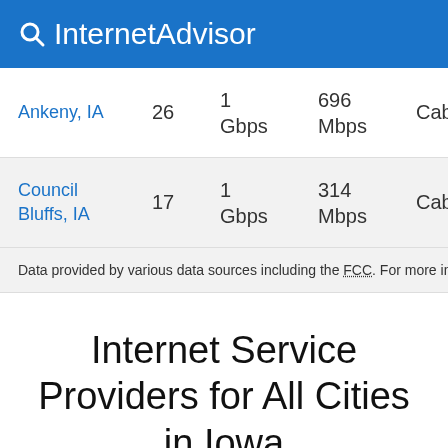InternetAdvisor
| City | # | Max | Avg | Type |
| --- | --- | --- | --- | --- |
| Ankeny, IA | 26 | 1 Gbps | 696 Mbps | Cable, C |
| Council Bluffs, IA | 17 | 1 Gbps | 314 Mbps | Cable, D |
Data provided by various data sources including the FCC. For more info
Internet Service Providers for All Cities in Iowa
| Max | Avg |
| --- | --- |